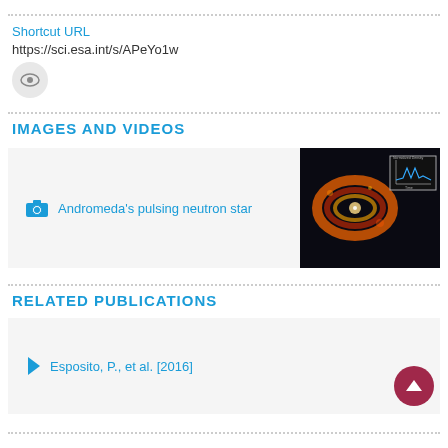Shortcut URL
https://sci.esa.int/s/APeYo1w
IMAGES AND VIDEOS
[Figure (photo): Andromeda pulsing neutron star image with X-ray data showing glowing orange ring and inset graph]
Andromeda's pulsing neutron star
RELATED PUBLICATIONS
Esposito, P., et al. [2016]